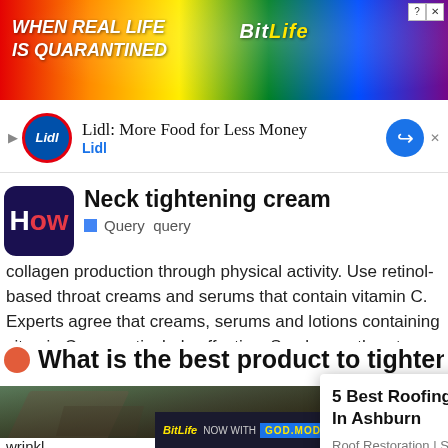[Figure (screenshot): BitLife advertisement banner with rainbow gradient background and game logo]
[Figure (screenshot): Lidl advertisement: 'Lidl: More Food for Less Money' with Lidl logo and blue arrow icon]
Neck tightening cream
Query  query
collagen production through physical activity. Use retinol-based throat creams and serums that contain vitamin C. Experts agree that creams, serums and lotions containing vitamin C are particularly effective. Scrub your throat. Choose dermal…
What is the best product to tighten your
[Figure (photo): Damaged roof with missing shingles photo]
[Figure (screenshot): Popup advertisement: '5 Best Roofing Companies In Ashburn' — Roof Restoration | Sponsored ... | Sponsored]
wrinkl... older when... as we...
ntents
[Figure (screenshot): BitLife bottom banner ad — NOW WITH GOD MODE]